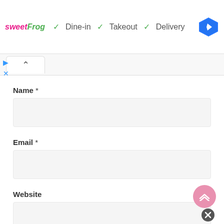sweetFrog  ✓ Dine-in  ✓ Takeout  ✓ Delivery
Name *
Email *
Website